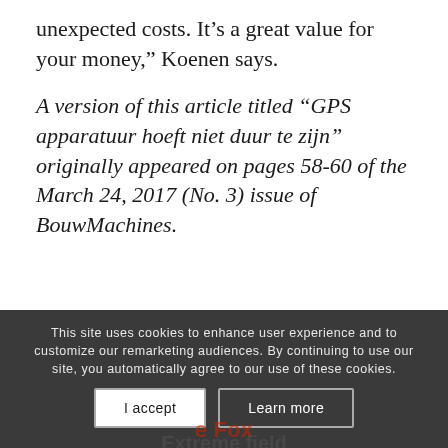unexpected costs. It’s a great value for your money,” Koenen says.
A version of this article titled “GPS apparatuur hoeft niet duur te zijn” originally appeared on pages 58-60 of the March 24, 2017 (No. 3) issue of BouwMachines.
This site uses cookies to enhance user experience and to customize our remarketing audiences. By continuing to use our site, you automatically agree to our use of these cookies.
I accept
Learn more